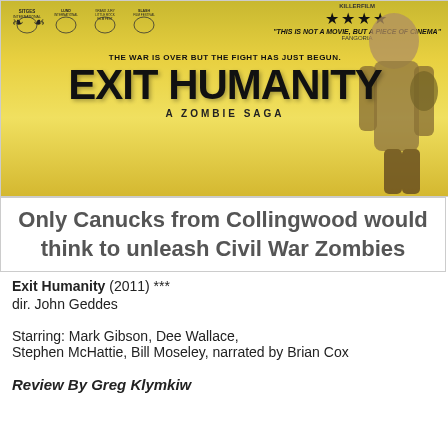[Figure (photo): Movie poster for Exit Humanity (2011) - a zombie saga. Features yellow/golden background with large bold black title text 'EXIT HUMANITY', tagline 'THE WAR IS OVER BUT THE FIGHT HAS JUST BEGUN.', subtitle 'A ZOMBIE SAGA', festival laurel logos (Sitges, Lund, Little Rock Film Fest, Slash), star rating, review quote 'THIS IS NOT A MOVIE, BUT A PIECE OF CINEMA' from Fangoria, and a figure of a man on the right side.]
Only Canucks from Collingwood would think to unleash Civil War Zombies
Exit Humanity (2011) ***
dir. John Geddes
Starring: Mark Gibson, Dee Wallace, Stephen McHattie, Bill Moseley, narrated by Brian Cox
Review By Greg Klymkiw